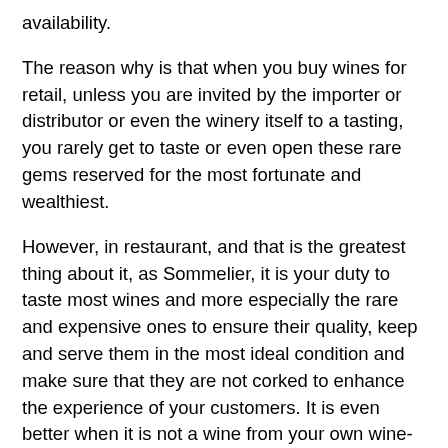availability.
The reason why is that when you buy wines for retail, unless you are invited by the importer or distributor or even the winery itself to a tasting, you rarely get to taste or even open these rare gems reserved for the most fortunate and wealthiest.
However, in restaurant, and that is the greatest thing about it, as Sommelier, it is your duty to taste most wines and more especially the rare and expensive ones to ensure their quality, keep and serve them in the most ideal condition and make sure that they are not corked to enhance the experience of your customers. It is even better when it is not a wine from your own wine-list but a wine brought by the customer himself (or herself) from his / her own cellar.
It's at this precise moment, after presenting the bottle to the customer, uncorked the bottle, poured a little bit in a extra glass on the side to "avine"* the decanter, avined the decanter and right before decanting the wine, that you can have that delicious sip of this incredible wine, which you may